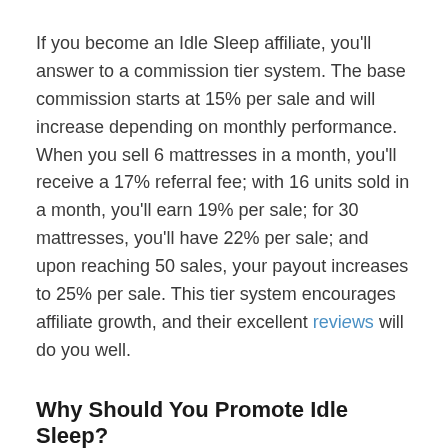If you become an Idle Sleep affiliate, you'll answer to a commission tier system. The base commission starts at 15% per sale and will increase depending on monthly performance. When you sell 6 mattresses in a month, you'll receive a 17% referral fee; with 16 units sold in a month, you'll earn 19% per sale; for 30 mattresses, you'll have 22% per sale; and upon reaching 50 sales, your payout increases to 25% per sale. This tier system encourages affiliate growth, and their excellent reviews will do you well.
Why Should You Promote Idle Sleep?